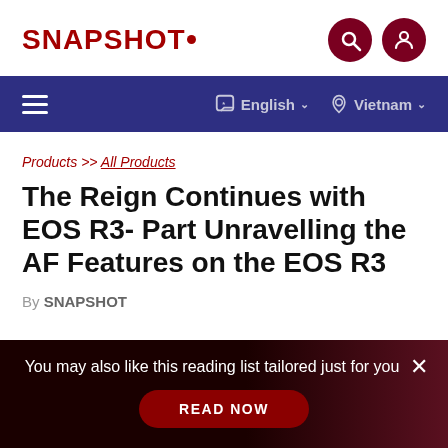SNAPSHOT
The Reign Continues with EOS R3- Part Unravelling the AF Features on the EOS R3
Products >> All Products
By SNAPSHOT
You may also like this reading list tailored just for you READ NOW